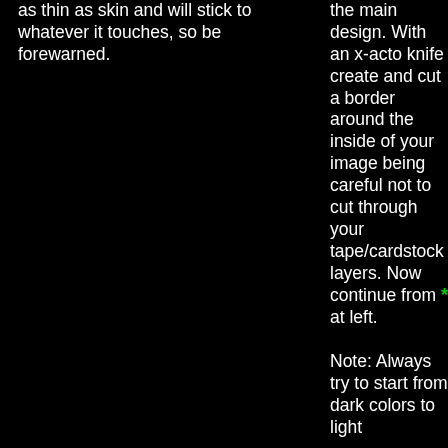as thin as skin and will stick to whatever it touches, so be forewarned.
the main design. With an x-acto knife create and cut a border around the inside of your image being careful not to cut through your tape/cardstock layers. Now continue from * at left.
Note: Always try to start from dark colors to light